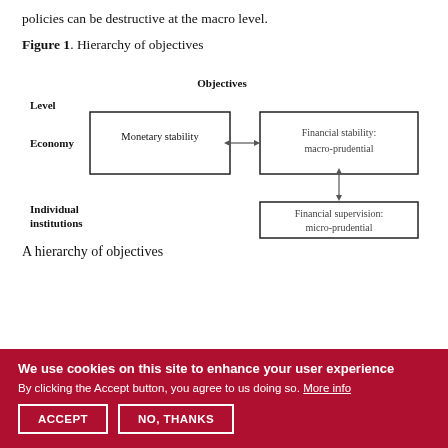policies can be destructive at the macro level.
Figure 1. Hierarchy of objectives
[Figure (flowchart): Hierarchy of objectives diagram showing two levels (Economy and Individual institutions) and two objective columns (Monetary stability and Financial stability/supervision). Monetary stability and Financial stability: macro-prudential are connected by a horizontal double-headed arrow at the Economy level. Financial stability: macro-prudential and Financial supervision: micro-prudential are connected by a vertical double-headed arrow. Individual institutions level has only Financial supervision: micro-prudential box.]
A hierarchy of objectives
We use cookies on this site to enhance your user experience
By clicking the Accept button, you agree to us doing so. More info